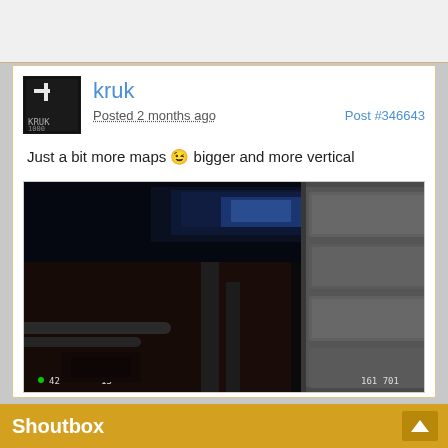kruk
Posted 2 months ago
Post #346643
Just a bit more maps 😉 bigger and more vertical
[Figure (screenshot): First-person view of a dark sci-fi/industrial game map with metallic corridors and vertical structures, HUD elements showing numbers 42, 13, 161, 701]
[Figure (screenshot): Partially visible second screenshot of another dark game map scene]
Shoutbox